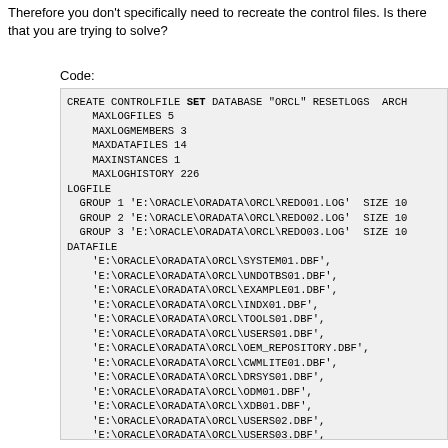Therefore you don't specifically need to recreate the control files. Is there that you are trying to solve?
Code:
CREATE CONTROLFILE SET DATABASE "ORCL" RESETLOGS ARCH
    MAXLOGFILES 5
    MAXLOGMEMBERS 3
    MAXDATAFILES 14
    MAXINSTANCES 1
    MAXLOGHISTORY 226
LOGFILE
  GROUP 1 'E:\ORACLE\ORADATA\ORCL\REDO01.LOG'  SIZE 10
  GROUP 2 'E:\ORACLE\ORADATA\ORCL\REDO02.LOG'  SIZE 10
  GROUP 3 'E:\ORACLE\ORADATA\ORCL\REDO03.LOG'  SIZE 10
DATAFILE
    'E:\ORACLE\ORADATA\ORCL\SYSTEM01.DBF',
    'E:\ORACLE\ORADATA\ORCL\UNDOTBS01.DBF',
    'E:\ORACLE\ORADATA\ORCL\EXAMPLE01.DBF',
    'E:\ORACLE\ORADATA\ORCL\INDX01.DBF',
    'E:\ORACLE\ORADATA\ORCL\TOOLS01.DBF',
    'E:\ORACLE\ORADATA\ORCL\USERS01.DBF',
    'E:\ORACLE\ORADATA\ORCL\OEM_REPOSITORY.DBF',
    'E:\ORACLE\ORADATA\ORCL\CWMLITE01.DBF',
    'E:\ORACLE\ORADATA\ORCL\DRSYS01.DBF',
    'E:\ORACLE\ORADATA\ORCL\ODM01.DBF',
    'E:\ORACLE\ORADATA\ORCL\XDB01.DBF',
    'E:\ORACLE\ORADATA\ORCL\USERS02.DBF',
    'E:\ORACLE\ORADATA\ORCL\USERS03.DBF',
    'E:\ORACLE\ORADATA\ORCL\USERS04.DBF'
CHARACTER SET WE8MSWIN1252;

ALTER DATABASE OPEN RESETLOGS;